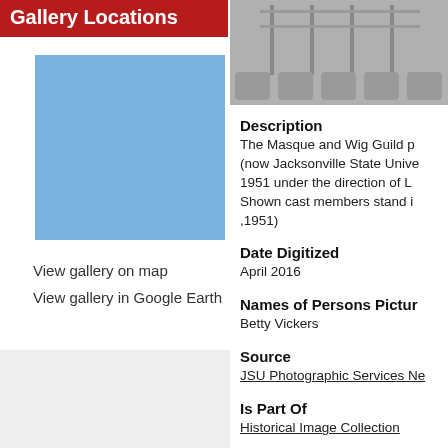Gallery Locations
[Figure (map): Blue map placeholder showing gallery location]
View gallery on map
View gallery in Google Earth
[Figure (photo): Grayscale photo of theater seats/auditorium]
Description
The Masque and Wig Guild p (now Jacksonville State Unive 1951 under the direction of L Shown cast members stand i ,1951)
Date Digitized
April 2016
Names of Persons Pictur
Betty Vickers
Source
JSU Photographic Services Ne
Is Part Of
Historical Image Collection
Rights